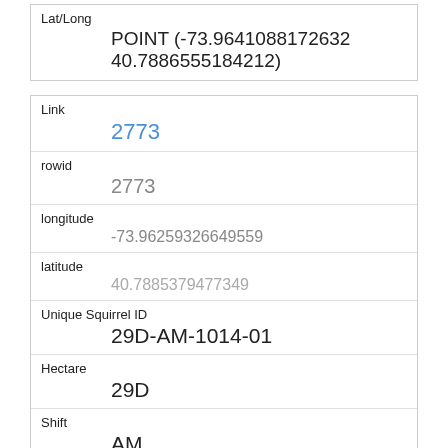| Lat/Long |
| --- |
| POINT (-73.9641088172632 40.7886555184212) |
| Link | 2773 |
| rowid | 2773 |
| longitude | -73.96259326649559 |
| latitude | 40.7885379477349 |
| Unique Squirrel ID | 29D-AM-1014-01 |
| Hectare | 29D |
| Shift | AM |
| Date | 10142018 |
| Hectare Squirrel Number | 1 |